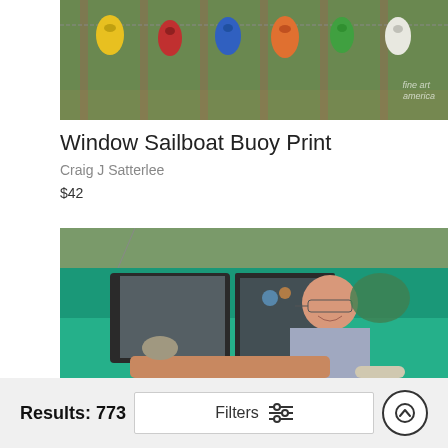[Figure (photo): Top portion of a photo showing colorful buoys or decorations hanging on a fence with green foliage background. Fine art america watermark visible.]
Window Sailboat Buoy Print
Craig J Satterlee
$42
[Figure (photo): A smiling older man sitting in a vintage teal/turquoise car, leaning out the window with his arm resting on the door. The car has chrome details and a large windshield.]
Results: 773   Filters   [up arrow button]